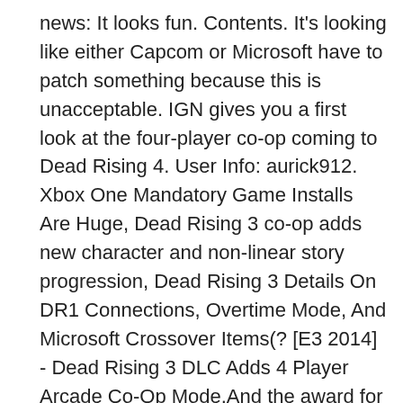news: It looks fun. Contents. It's looking like either Capcom or Microsoft have to patch something because this is unacceptable. IGN gives you a first look at the four-player co-op coming to Dead Rising 4. User Info: aurick912. Xbox One Mandatory Game Installs Are Huge, Dead Rising 3 co-op adds new character and non-linear story progression, Dead Rising 3 Details On DR1 Connections, Overtime Mode, And Microsoft Crossover Items(? [E3 2014] - Dead Rising 3 DLC Adds 4 Player Arcade Co-Op Mode.And the award for the longest DLC title for goes to.... A News about Dead Rising 3 and its co-op game features. This thread is locked. Co-op Mode is a mode featured in Dead Rising 3. Dead Rising 4's Campaign Won't Feature Cooperative Multiplayer There will be a separate mode for four-player co-op. The Untold Stories of Los Perdidos is a series of DLC episodes that